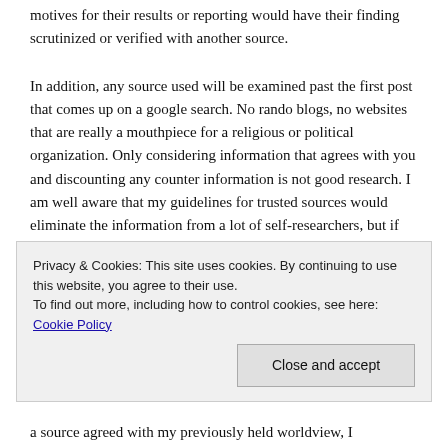Any person or organization that could have political motives for their results or reporting would have their finding scrutinized or verified with another source.
In addition, any source used will be examined past the first post that comes up on a google search. No rando blogs, no websites that are really a mouthpiece for a religious or political organization. Only considering information that agrees with you and discounting any counter information is not good research. I am well aware that my guidelines for trusted sources would eliminate the information from a lot of self-researchers, but if your sources do not hold up to critical thinking, how can you
Privacy & Cookies: This site uses cookies. By continuing to use this website, you agree to their use.
To find out more, including how to control cookies, see here: Cookie Policy
a source agreed with my previously held worldview, I